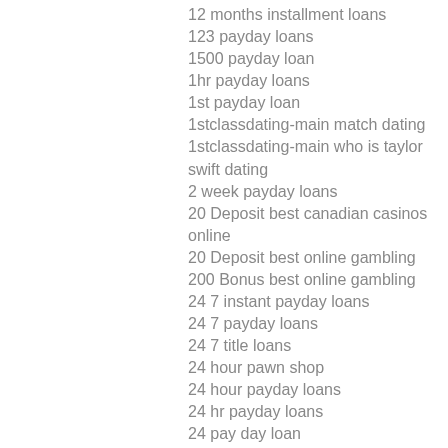12 months installment loans
123 payday loans
1500 payday loan
1hr payday loans
1st payday loan
1stclassdating-main match dating
1stclassdating-main who is taylor swift dating
2 week payday loans
20 Deposit best canadian casinos online
20 Deposit best online gambling
200 Bonus best online gambling
24 7 instant payday loans
24 7 payday loans
24 7 title loans
24 hour pawn shop
24 hour payday loans
24 hr payday loans
24 pay day loan